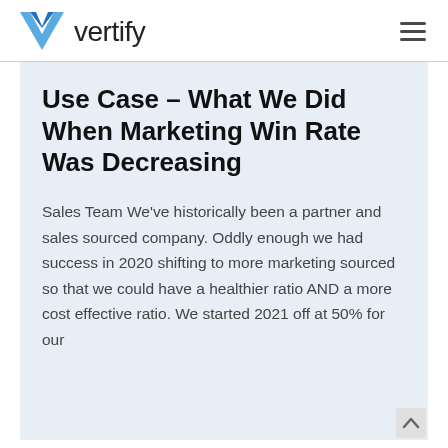vertify
Use Case – What We Did When Marketing Win Rate Was Decreasing
Sales Team We've historically been a partner and sales sourced company. Oddly enough we had success in 2020 shifting to more marketing sourced so that we could have a healthier ratio AND a more cost effective ratio. We started 2021 off at 50% for our